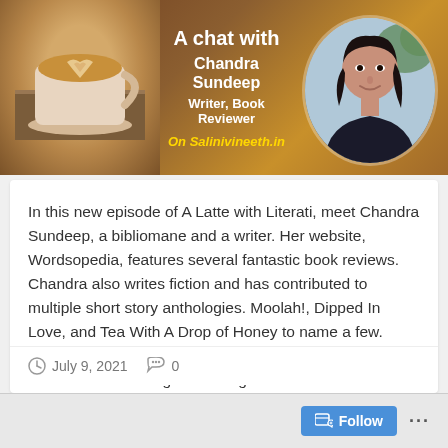[Figure (illustration): Banner image for 'A chat with Chandra Sundeep, Writer, Book Reviewer, On Salinivineeth.in' featuring a coffee cup latte art on the left, centered text overlay, and a circular portrait photo of Chandra Sundeep on the right, set against a warm brown background.]
In this new episode of A Latte with Literati, meet Chandra Sundeep, a bibliomane and a writer. Her website, Wordsopedia, features several fantastic book reviews. Chandra also writes fiction and has contributed to multiple short story anthologies. Moolah!, Dipped In Love, and Tea With A Drop of Honey to name a few. Chandra is an avid reader from the age of 10. She believes that reading makes a great writer.
July 9, 2021   0   Follow ...